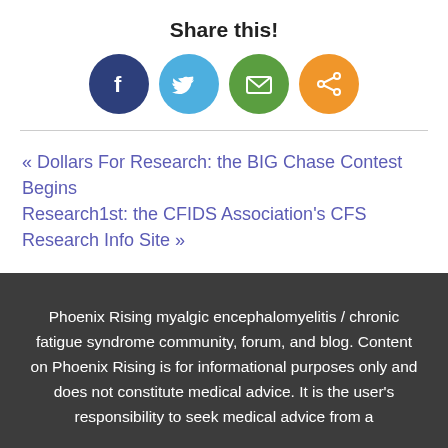Share this!
[Figure (infographic): Four social share icon circles: Facebook (dark blue), Twitter (light blue), Email (green), Share (orange)]
« Dollars For Research: the BIG Chase Contest Begins
Research1st: the CFIDS Association's CFS Research Info Site »
Phoenix Rising myalgic encephalomyelitis / chronic fatigue syndrome community, forum, and blog. Content on Phoenix Rising is for informational purposes only and does not constitute medical advice. It is the user's responsibility to seek medical advice from a